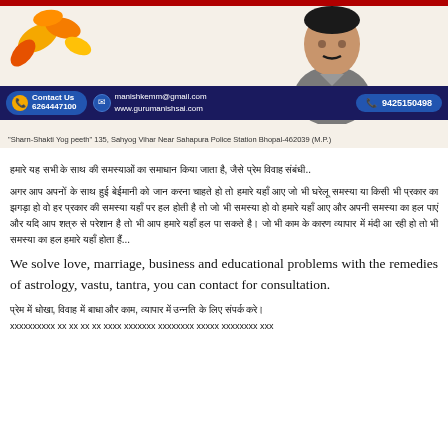[Figure (photo): Header banner with astrologer photo, contact information bar showing phone 6264447100, email manishkemm@gmail.com, website www.gurumanishsai.com, phone 9425150498, and address bar below]
हमारे यहाँ सभी प्रकार की समस्याओं का समाधान किया जाता है, जैसे प्रेम विवाह संबंधी..
अगर आप अपनों के साथ हुई बेईमानी को जान करना चाहते हो तो हमारे यहाँ आए जो भी घरेलू समस्या या किसी भी प्रकार का झगडा हो वो हर प्रकार की समस्या यहाँ पर हल होती है तो जो भी समस्या हो वो हमारे यहाँ आए और अपनी समस्या का हल पाएं और यदि आप शत्रु से परेशान है तो भी आप हमारे यहाँ हल पा सकते है। जो भी काम के कारण व्यापार में मंदी आ रही हो तो भी समस्या का हल हमारे यहाँ होता हैं...
We solve love, marriage, business and educational problems with the remedies of astrology, vastu, tantra, you can contact for consultation.
प्रेम में धोखा, विवाह में बाधा और काम, व्यापार में उन्नति के लिए संपर्क करे।